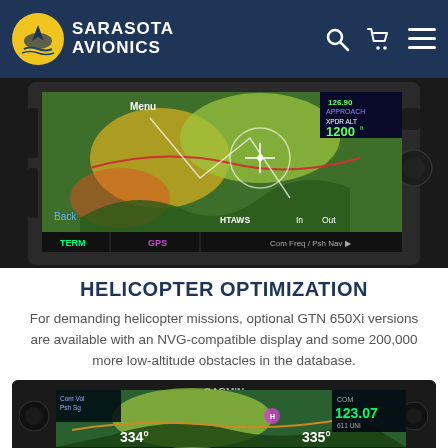Sarasota Avionics
[Figure (photo): Garmin GTN 650Xi GPS/Nav/Com avionics unit showing moving map display with terrain, airways, approach waypoints, altitude 1200ft, HTAWS, Com Freq/Psh Nav display]
HELICOPTER OPTIMIZATION
For demanding helicopter missions, optional GTN 650Xi versions are available with an NVG-compatible display and some 200,000 more low-altitude obstacles in the database.
[Figure (photo): Garmin GTN avionics unit partially visible, showing moving map with heading 334 degrees, COM frequency 123.07, green terrain map]
Post-Oshkosh Specials + FREE 2-day shipping
REQUEST A QUOTE